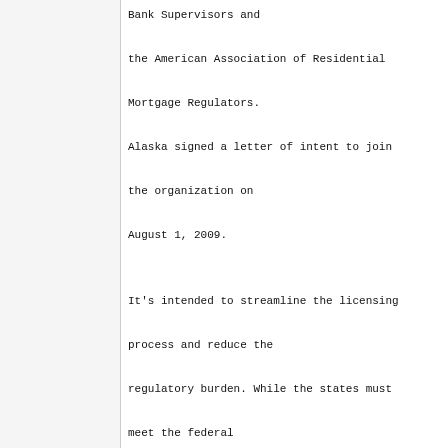Bank Supervisors and the American Association of Residential Mortgage Regulators. Alaska signed a letter of intent to join the organization on August 1, 2009.

It's intended to streamline the licensing process and reduce the regulatory burden. While the states must meet the federal requirements of SAFE, overall responsibility for interpretation, implementation and compliance with it rests with HUD. Title 5 of the Act for mortgage licensing affirms that any residential mortgage loan originator must be either state licensed or...